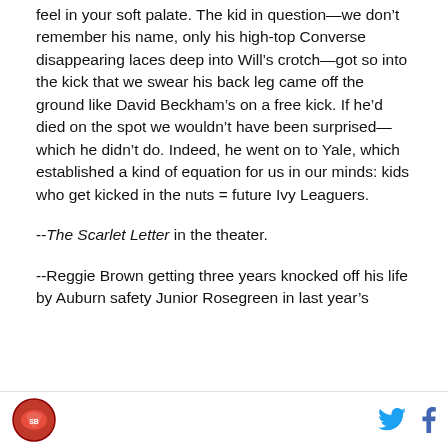feel in your soft palate. The kid in question—we don't remember his name, only his high-top Converse disappearing laces deep into Will's crotch—got so into the kick that we swear his back leg came off the ground like David Beckham's on a free kick. If he'd died on the spot we wouldn't have been surprised—which he didn't do. Indeed, he went on to Yale, which established a kind of equation for us in our minds: kids who get kicked in the nuts = future Ivy Leaguers.
--The Scarlet Letter in the theater.
--Reggie Brown getting three years knocked off his life by Auburn safety Junior Rosegreen in last year's